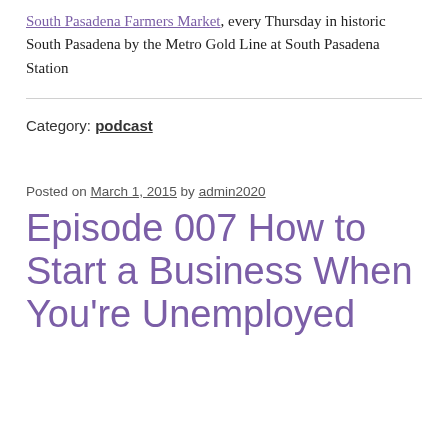South Pasadena Farmers Market, every Thursday in historic South Pasadena by the Metro Gold Line at South Pasadena Station
Category: podcast
Posted on March 1, 2015 by admin2020
Episode 007 How to Start a Business When You're Unemployed